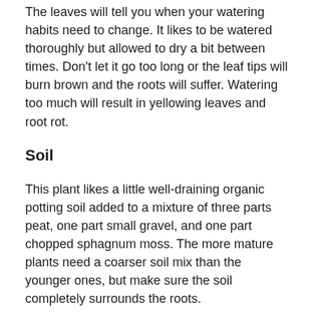The leaves will tell you when your watering habits need to change. It likes to be watered thoroughly but allowed to dry a bit between times. Don't let it go too long or the leaf tips will burn brown and the roots will suffer. Watering too much will result in yellowing leaves and root rot.
Soil
This plant likes a little well-draining organic potting soil added to a mixture of three parts peat, one part small gravel, and one part chopped sphagnum moss. The more mature plants need a coarser soil mix than the younger ones, but make sure the soil completely surrounds the roots.
Fertilizer
If you just bought your plant, you won't need any fertilizer for a few months. When it's time, you can use a slow- release kind specifically for blooming plants with a 3-1-2...